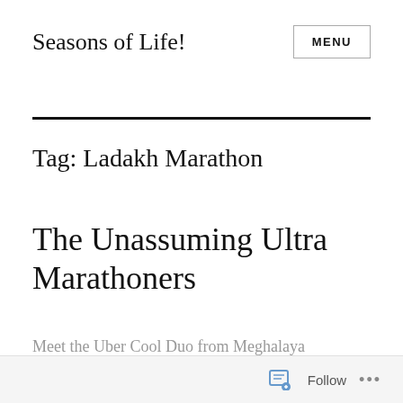Seasons of Life!
Tag: Ladakh Marathon
The Unassuming Ultra Marathoners
Meet the Uber Cool Duo from Meghalaya
Follow ...